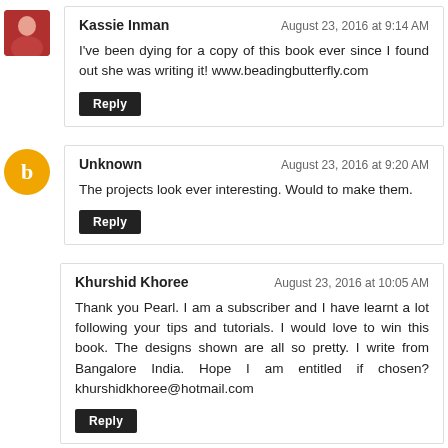Kassie Inman — August 23, 2016 at 9:14 AM
I've been dying for a copy of this book ever since I found out she was writing it! www.beadingbutterfly.com
[Reply]
Unknown — August 23, 2016 at 9:20 AM
The projects look ever interesting. Would to make them.
[Reply]
Khurshid Khoree — August 23, 2016 at 10:05 AM
Thank you Pearl. I am a subscriber and I have learnt a lot following your tips and tutorials. I would love to win this book. The designs shown are all so pretty. I write from Bangalore India. Hope I am entitled if chosen? khurshidkhoree@hotmail.com
[Reply]
DM — August 23, 2016 at 4:37 PM